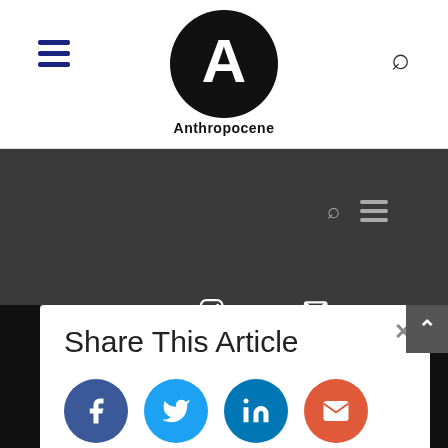Anthropocene
[Figure (screenshot): Anthropocene magazine website screenshot showing navigation header with hamburger menu, logo, search icon, dark hero image area with search and menu icons, social media icons row (Facebook, Twitter, Instagram, LinkedIn, Flipboard), and a Share This Article modal popup with Facebook, Twitter, LinkedIn and email share buttons.]
Share This Article